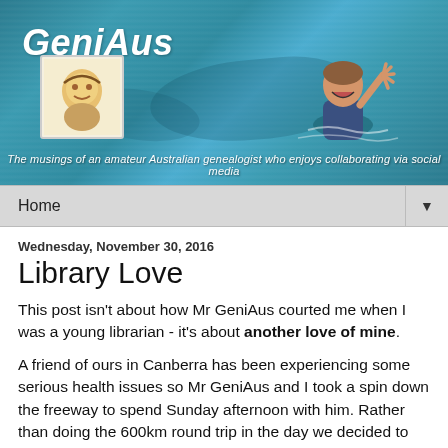[Figure (photo): GeniAus blog header banner showing a woman swimming in ocean water waving, with an avatar sketch illustration, site title 'GeniAus' in bold italic white text, and tagline 'The musings of an amateur Australian genealogist who enjoys collaborating via social media']
Home ▼
Wednesday, November 30, 2016
Library Love
This post isn't about how Mr GeniAus courted me when I was a young librarian - it's about another love of mine.
A friend of ours in Canberra has been experiencing some serious health issues so Mr GeniAus and I took a spin down the freeway to spend Sunday afternoon with him. Rather than doing the 600km round trip in the day we decided to stay the night in a hotel so on Monday I could visit another